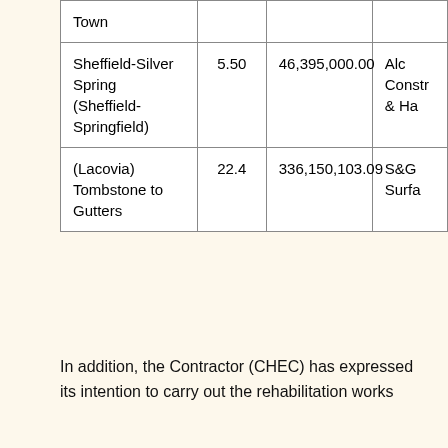| Town |  |  |  |
| Sheffield-Silver Spring (Sheffield-Springfield) | 5.50 | 46,395,000.00 | Alc Constr & Ha |
| (Lacovia) Tombstone to Gutters | 22.4 | 336,150,103.09 | S&G Surfa |
In addition, the Contractor (CHEC) has expressed its intention to carry out the rehabilitation works